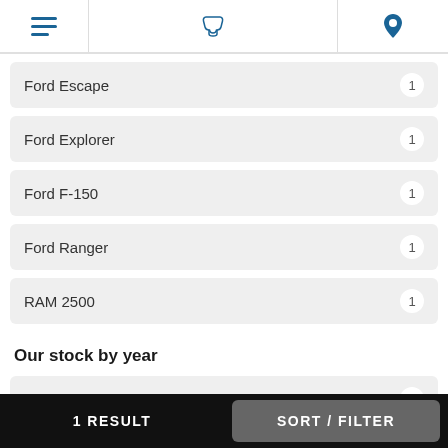Menu | Phone | Location
Ford Escape 1
Ford Explorer 1
Ford F-150 1
Ford Ranger 1
RAM 2500 1
Our stock by year
Ford Edge 2019 1
Ford Edge 2014 1
1 RESULT | SORT / FILTER